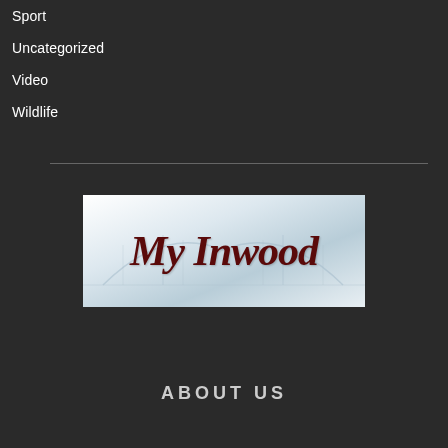Sport
Uncategorized
Video
Wildlife
[Figure (logo): MyInwood logo — dark red italic serif text 'My Inwood' on a white/light blue background with a faint bridge silhouette]
ABOUT US